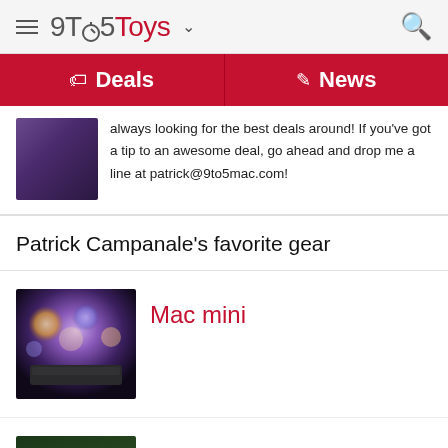9to5Toys
Deals | News
always looking for the best deals around! If you've got a tip to an awesome deal, go ahead and drop me a line at patrick@9to5mac.com!
Patrick Campanale's favorite gear
[Figure (photo): Mac mini device photo with bokeh background lights]
Mac mini
[Figure (photo): LG 34 inch Curved UltraWide monitor photo]
LG 34" Curved UltraWide